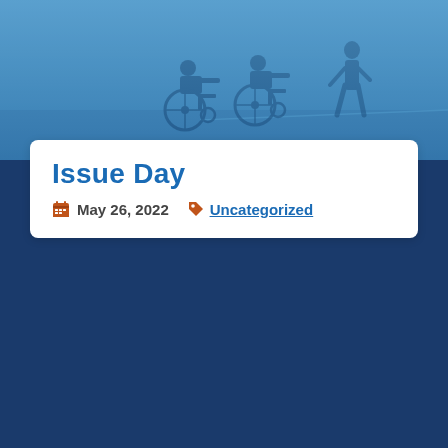[Figure (photo): Blue-tinted photograph of people in wheelchairs in an indoor corridor/hallway]
Issue Day
May 26, 2022   Uncategorized